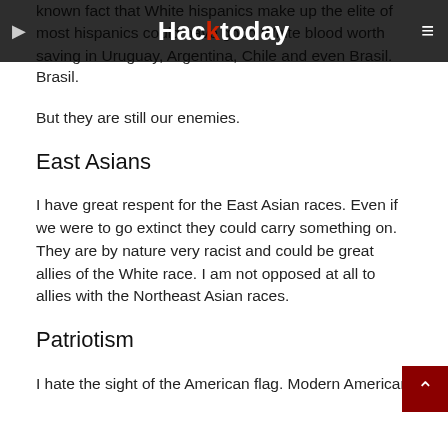HackToday
known fact that White hispanics make up the elite of most hispanics could have good White blood worth saving in Uruguay, Argentina, Chile and even Brasil.
But they are still our enemies.
East Asians
I have great respent for the East Asian races. Even if we were to go extinct they could carry something on. They are by nature very racist and could be great allies of the White race. I am not opposed at all to allies with the Northeast Asian races.
Patriotism
I hate the sight of the American flag. Modern American